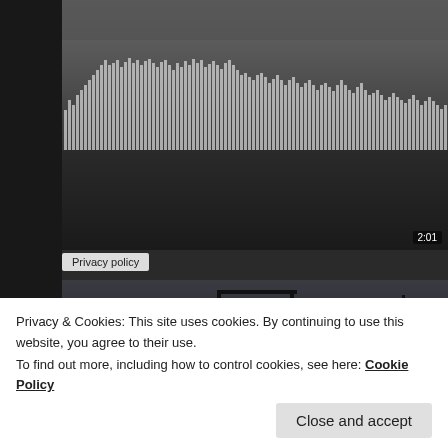[Figure (screenshot): Video player showing a road scene with cars, overlaid with audio waveform bars and a 2:01 timestamp in bottom right of video]
Privacy policy
Advertisements
[Figure (photo): Dark city/industrial scene with crane silhouettes against a dim sky]
(Originally published on Qatar Living)
Advertisements
Privacy & Cookies: This site uses cookies. By continuing to use this website, you agree to their use.
To find out more, including how to control cookies, see here: Cookie Policy
Close and accept
Turn your hobby into